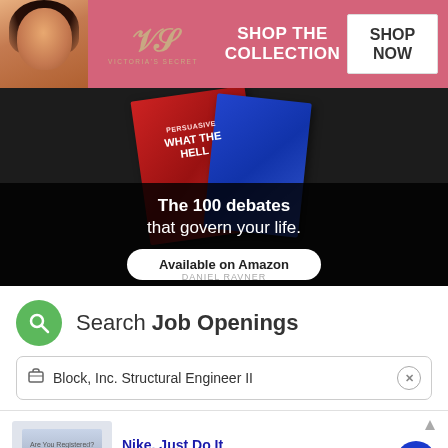[Figure (illustration): Victoria's Secret advertisement banner with model, VS logo, 'SHOP THE COLLECTION' text, and 'SHOP NOW' button on pink background]
[Figure (illustration): Book advertisement on dark background showing red and blue books with text 'The 100 debates that govern your life.' and 'Available on Amazon' button]
Search Job Openings
Block, Inc. Structural Engineer II
[Figure (illustration): Nike advertisement: 'Nike. Just Do It' - Inspiring the world's athletes, Nike delivers the deals. www.nike.com]